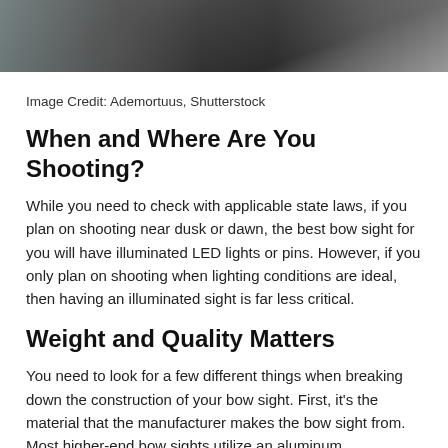[Figure (photo): Partial photograph of a person shooting, cropped at top of page showing dark background with figure silhouette]
Image Credit: Ademortuus, Shutterstock
When and Where Are You Shooting?
While you need to check with applicable state laws, if you plan on shooting near dusk or dawn, the best bow sight for you will have illuminated LED lights or pins. However, if you only plan on shooting when lighting conditions are ideal, then having an illuminated sight is far less critical.
Weight and Quality Matters
You need to look for a few different things when breaking down the construction of your bow sight. First, it’s the material that the manufacturer makes the bow sight from. Most higher-end bow sights utilize an aluminum construction for their lightweight design and durability.